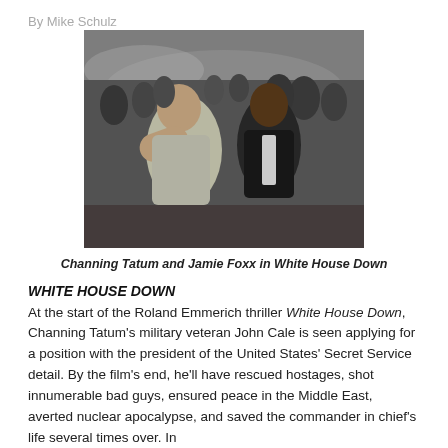By Mike Schulz
[Figure (photo): Movie still of Channing Tatum and Jamie Foxx running in White House Down]
Channing Tatum and Jamie Foxx in White House Down
WHITE HOUSE DOWN
At the start of the Roland Emmerich thriller White House Down, Channing Tatum's military veteran John Cale is seen applying for a position with the president of the United States' Secret Service detail. By the film's end, he'll have rescued hostages, shot innumerable bad guys, ensured peace in the Middle East, averted nuclear apocalypse, and saved the commander in chief's life several times over. In